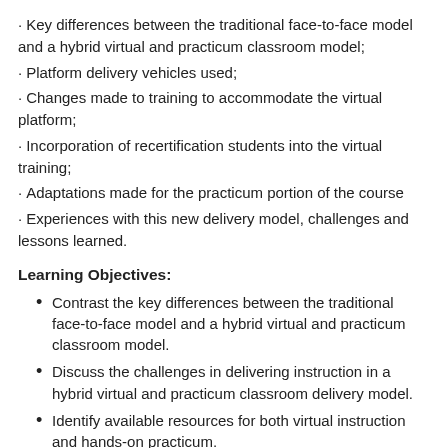Key differences between the traditional face-to-face model and a hybrid virtual and practicum classroom model;
Platform delivery vehicles used;
Changes made to training to accommodate the virtual platform;
Incorporation of recertification students into the virtual training;
Adaptations made for the practicum portion of the course
Experiences with this new delivery model, challenges and lessons learned.
Learning Objectives:
Contrast the key differences between the traditional face-to-face model and a hybrid virtual and practicum classroom model.
Discuss the challenges in delivering instruction in a hybrid virtual and practicum classroom delivery model.
Identify available resources for both virtual instruction and hands-on practicum.